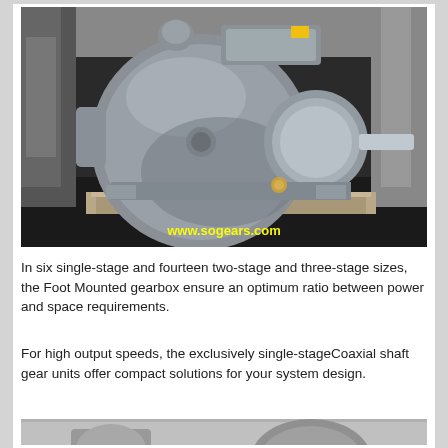[Figure (photo): Photograph of a large grey foot-mounted gearbox/gear reducer unit sitting on a wooden pallet in an industrial setting. The gearbox is cylindrical with a large circular housing. A yellow watermark reads 'www.sogears.com' at the bottom of the image.]
In six single-stage and fourteen two-stage and three-stage sizes, the Foot Mounted gearbox ensure an optimum ratio between power and space requirements.
For high output speeds, the exclusively single-stageCoaxial shaft gear units offer compact solutions for your system design.
[Figure (photo): Partial photograph of another gearbox unit, only the top portion visible at the bottom of the page.]